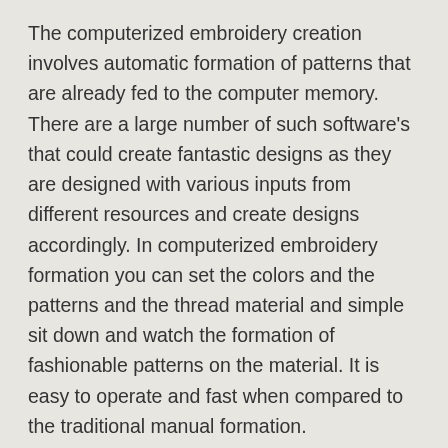The computerized embroidery creation involves automatic formation of patterns that are already fed to the computer memory. There are a large number of such software’s that could create fantastic designs as they are designed with various inputs from different resources and create designs accordingly. In computerized embroidery formation you can set the colors and the patterns and the thread material and simple sit down and watch the formation of fashionable patterns on the material. It is easy to operate and fast when compared to the traditional manual formation.
You can buy the computerized embroidery softwares at cheap rate and they are affordable when compared to the price of the sewing machines in the recent times. You can choose the softwares depending on